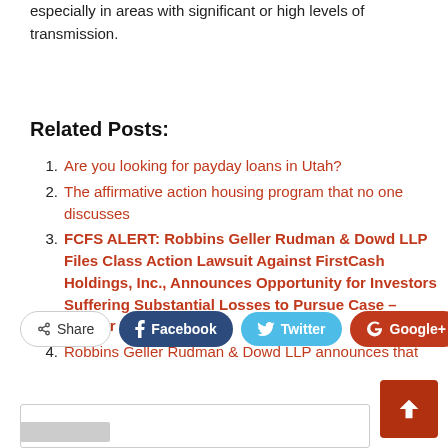especially in areas with significant or high levels of transmission.
Related Posts:
Are you looking for payday loans in Utah?
The affirmative action housing program that no one discusses
FCFS ALERT: Robbins Geller Rudman & Dowd LLP Files Class Action Lawsuit Against FirstCash Holdings, Inc., Announces Opportunity for Investors Suffering Substantial Losses to Pursue Case – Lawyer Monthly
Robbins Geller Rudman & Dowd LLP announces that